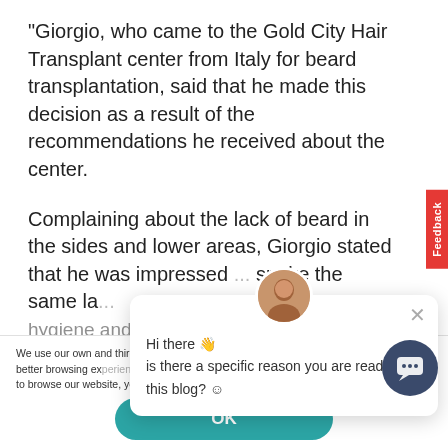“Giorgio, who came to the Gold City Hair Transplant center from Italy for beard transplantation, said that he made this decision as a result of the recommendations he received about the center.
Complaining about the lack of beard in the sides and lower areas, Giorgio stated that he was impressed ... spoke the same la... hygiene and order...
Hi there 👋 is there a specific reason you are reading this blog? ☺
We use our own and third party cookies to improve our services and to provide you with a better browsing experience. We also use cookies for advertising purposes. By continuing to browse our website, you agree to our use of cookies. Click for detailed information